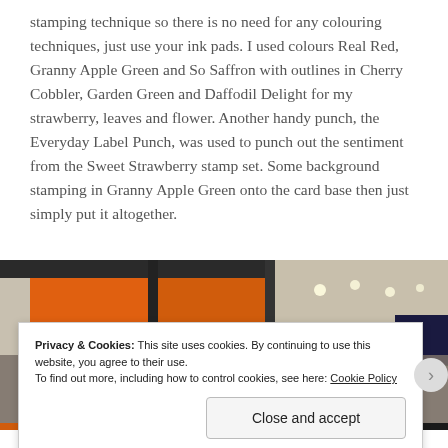stamping technique so there is no need for any colouring techniques, just use your ink pads. I used colours Real Red, Granny Apple Green and So Saffron with outlines in Cherry Cobbler, Garden Green and Daffodil Delight for my strawberry, leaves and flower. Another handy punch, the Everyday Label Punch, was used to punch out the sentiment from the Sweet Strawberry stamp set. Some background stamping in Granny Apple Green onto the card base then just simply put it altogether.
[Figure (photo): Interior photo of what appears to be a store or venue with orange and black panels on the upper wall, green display area, ceiling lights, and blurred people in the foreground.]
Privacy & Cookies: This site uses cookies. By continuing to use this website, you agree to their use.
To find out more, including how to control cookies, see here: Cookie Policy
Close and accept